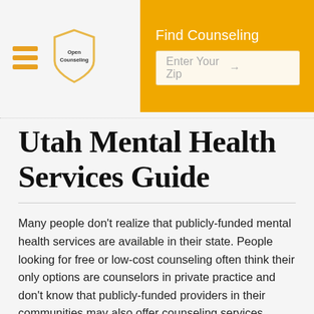Open Counseling | Find Counseling | Enter Your Zip
Utah Mental Health Services Guide
Many people don't realize that publicly-funded mental health services are available in their state. People looking for free or low-cost counseling often think their only options are counselors in private practice and don't know that publicly-funded providers in their communities may also offer counseling services.
While state-based programs are not for everyone, they're often a great place to start for people who face geographic